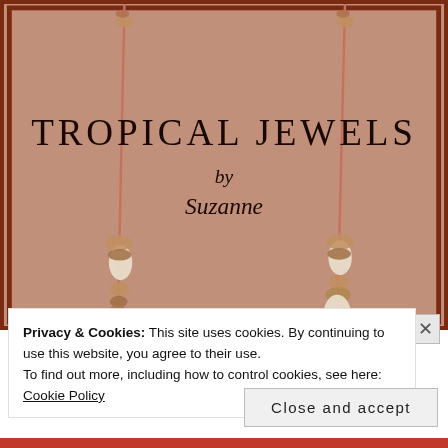[Figure (photo): Book cover photo showing 'TROPICAL JEWELS by Suzanne' text on a dusty rose/terracotta background with two beaded necklace strands hanging down, featuring wooden and white oval beads]
Privacy & Cookies: This site uses cookies. By continuing to use this website, you agree to their use.
To find out more, including how to control cookies, see here: Cookie Policy
Close and accept